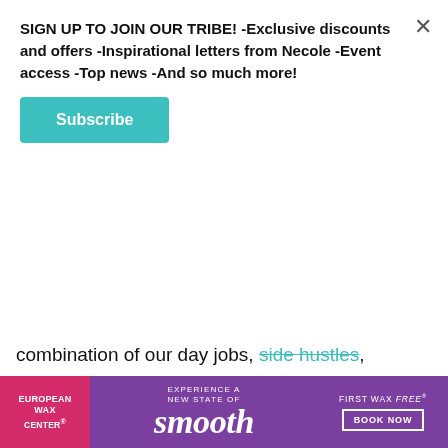SIGN UP TO JOIN OUR TRIBE! -Exclusive discounts and offers -Inspirational letters from Necole -Event access -Top news -And so much more!
Subscribe
combination of our day jobs, side hustles, parenting, and household responsibilities, left us depleted. We gave each other the gift of focus instead of a physical one, and I couldn't have been more grateful.
Instead of looking at your quarantine celebration as a lackluster event, think about the creative ways that you can love each other. It is an opportunity to
[Figure (screenshot): European Wax Center advertisement banner with pink/purple background. Left section has pink background with 'EUROPEAN WAX CENTER' text. Center has 'EXPERIENCE A NEW STATE OF smooth' text. Right has 'FIRST WAX free BOOK NOW' button.]